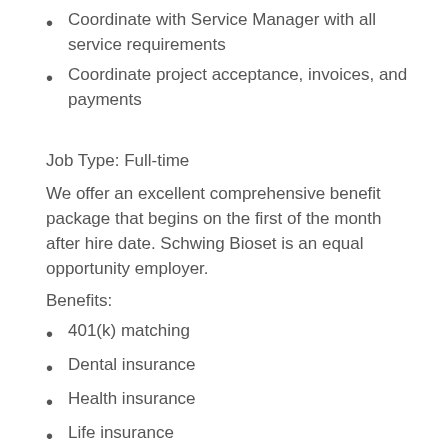Coordinate with Service Manager with all service requirements
Coordinate project acceptance, invoices, and payments
Job Type: Full-time
We offer an excellent comprehensive benefit package that begins on the first of the month after hire date. Schwing Bioset is an equal opportunity employer.
Benefits:
401(k) matching
Dental insurance
Health insurance
Life insurance
Paid time off